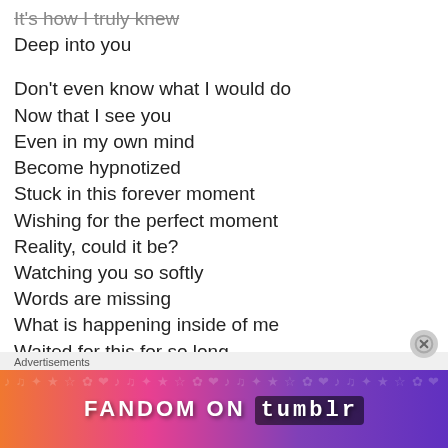It's how I truly knew
Deep into you

Don't even know what I would do
Now that I see you
Even in my own mind
Become hypnotized
Stuck in this forever moment
Wishing for the perfect moment
Reality, could it be?
Watching you so softly
Words are missing
What is happening inside of me
Waited for this for so long
Tongue is tied, what is wrong?
Hands so unsteady
[Figure (infographic): Fandom on Tumblr advertisement banner with gradient background from orange to purple]
Advertisements